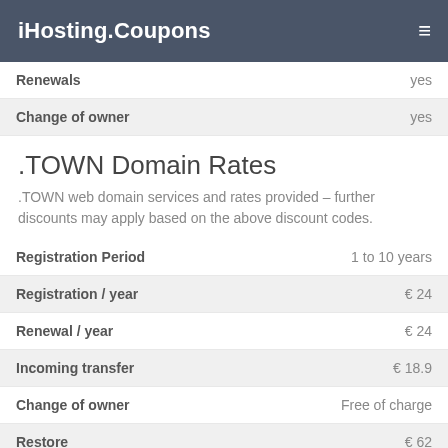iHosting.Coupons
| Feature | Value |
| --- | --- |
| Renewals | yes |
| Change of owner | yes |
.TOWN Domain Rates
.TOWN web domain services and rates provided – further discounts may apply based on the above discount codes.
| Feature | Value |
| --- | --- |
| Registration Period | 1 to 10 years |
| Registration / year | € 24 |
| Renewal / year | € 24 |
| Incoming transfer | € 18.9 |
| Change of owner | Free of charge |
| Restore | € 62 |